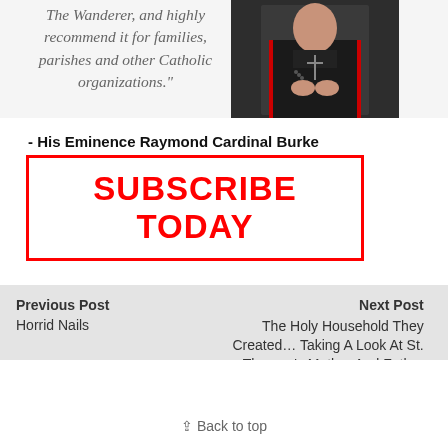The Wanderer, and highly recommend it for families, parishes and other Catholic organizations."
[Figure (photo): Photo of His Eminence Raymond Cardinal Burke in red and black cardinal vestments holding a cross.]
- His Eminence Raymond Cardinal Burke
SUBSCRIBE TODAY
Previous Post
❮ Horrid Nails
Next Post
The Holy Household They Created… Taking A Look At St. Therese's Mother And Father ❯
⇪ Back to top